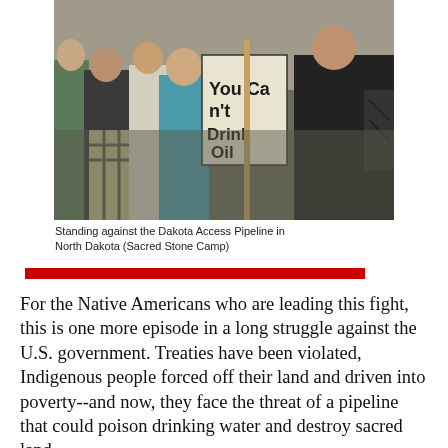[Figure (photo): Protesters at the Dakota Access Pipeline demonstration at Sacred Stone Camp in North Dakota. A crowd of people is visible, with one person holding a sign reading 'You Can't Drink Oil'.]
Standing against the Dakota Access Pipeline in North Dakota (Sacred Stone Camp)
For the Native Americans who are leading this fight, this is one more episode in a long struggle against the U.S. government. Treaties have been violated, Indigenous people forced off their land and driven into poverty--and now, they face the threat of a pipeline that could poison drinking water and destroy sacred land.